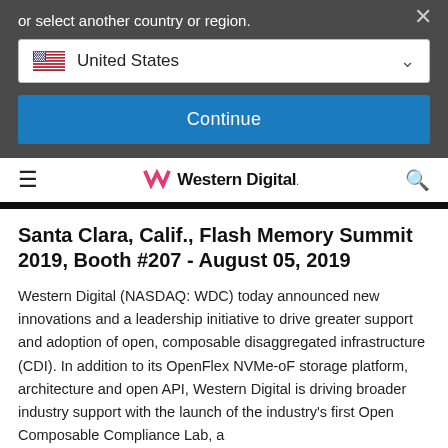or select another country or region.
United States
Continue
Western Digital
Santa Clara, Calif., Flash Memory Summit 2019, Booth #207 - August 05, 2019
Western Digital (NASDAQ: WDC) today announced new innovations and a leadership initiative to drive greater support and adoption of open, composable disaggregated infrastructure (CDI). In addition to its OpenFlex NVMe-oF storage platform, architecture and open API, Western Digital is driving broader industry support with the launch of the industry's first Open Composable Compliance Lab, a